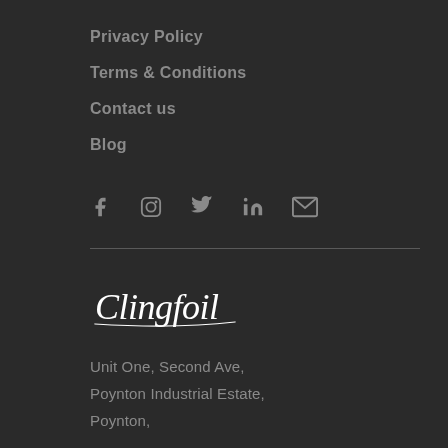Privacy Policy
Terms & Conditions
Contact us
Blog
[Figure (other): Social media icons row: Facebook, Instagram, Twitter, LinkedIn, Email]
[Figure (logo): Clingfoil script logo in white]
Unit One, Second Ave,
Poynton Industrial Estate,
Poynton,